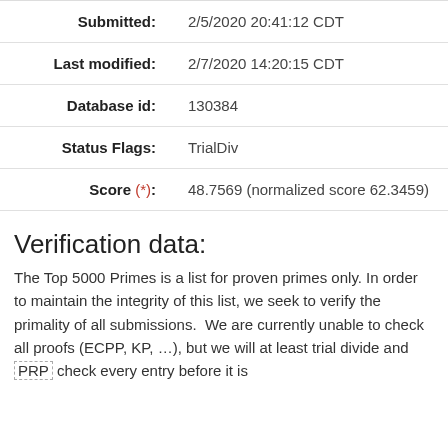| Submitted: | 2/5/2020 20:41:12 CDT |
| Last modified: | 2/7/2020 14:20:15 CDT |
| Database id: | 130384 |
| Status Flags: | TrialDiv |
| Score (*): | 48.7569 (normalized score 62.3459) |
Verification data:
The Top 5000 Primes is a list for proven primes only. In order to maintain the integrity of this list, we seek to verify the primality of all submissions.  We are currently unable to check all proofs (ECPP, KP, …), but we will at least trial divide and PRP check every entry before it is